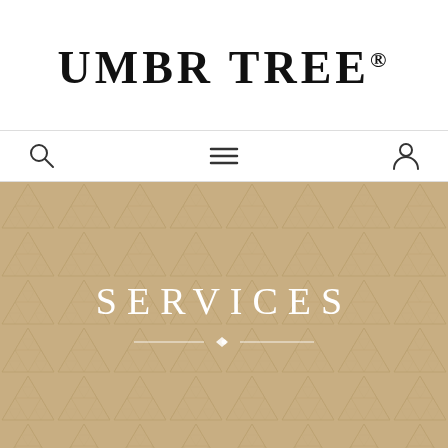UMBR TREE®
[Figure (screenshot): Navigation bar with search icon, hamburger menu icon, and user/account icon]
[Figure (illustration): Beige/tan hero banner section with repeating Sierpinski triangle geometric pattern background and centered white text reading SERVICES with an ornamental divider below]